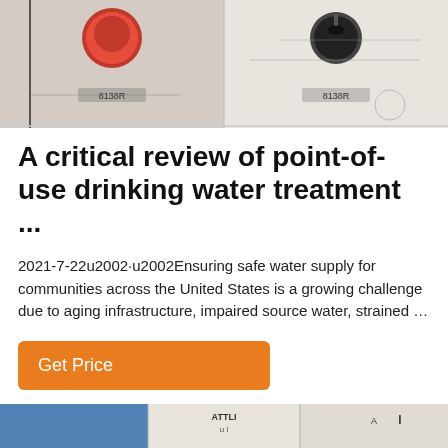[Figure (photo): Top portion of a product/equipment image showing a red button and black knob with labels, overlaid with a line drawing schematic]
A critical review of point-of-use drinking water treatment ...
2021-7-22u2002·u2002Ensuring safe water supply for communities across the United States is a growing challenge due to aging infrastructure, impaired source water, strained …
Get Price
[Figure (photo): Bottom strip of images showing equipment and text, partially visible]